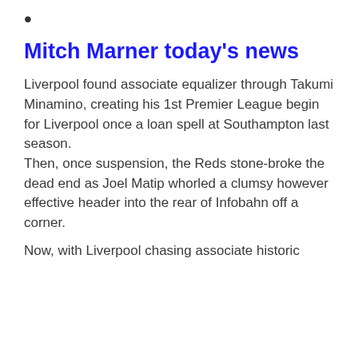•
Mitch Marner today's news
Liverpool found associate equalizer through Takumi Minamino, creating his 1st Premier League begin for Liverpool once a loan spell at Southampton last season. Then, once suspension, the Reds stone-broke the dead end as Joel Matip whorled a clumsy however effective header into the rear of Infobahn off a corner.
Now, with Liverpool chasing associate historic